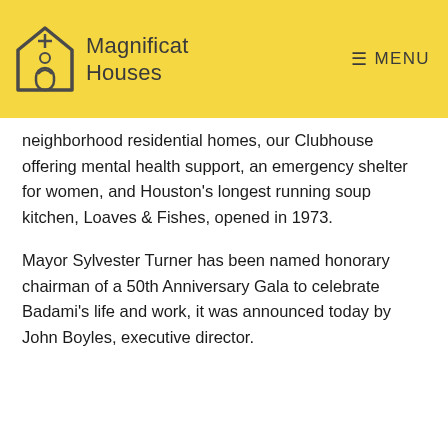Magnificat Houses  MENU
neighborhood residential homes, our Clubhouse offering mental health support, an emergency shelter for women, and Houston's longest running soup kitchen, Loaves & Fishes, opened in 1973.
Mayor Sylvester Turner has been named honorary chairman of a 50th Anniversary Gala to celebrate Badami's life and work, it was announced today by John Boyles, executive director.